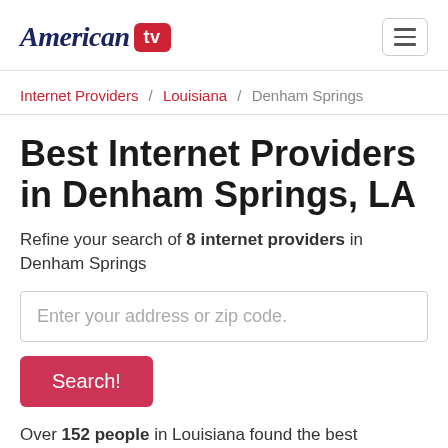American tv
Internet Providers / Louisiana / Denham Springs
Best Internet Providers in Denham Springs, LA
Refine your search of 8 internet providers in Denham Springs
Enter your address or zip code.
Search!
Over 152 people in Louisiana found the best